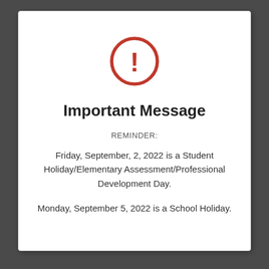[Figure (illustration): Red circle with exclamation mark warning icon]
Important Message
REMINDER:
Friday, September, 2, 2022 is a Student Holiday/Elementary Assessment/Professional Development Day.
Monday, September 5, 2022 is a School Holiday.